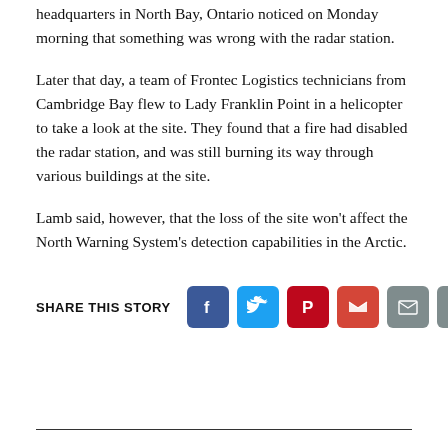headquarters in North Bay, Ontario noticed on Monday morning that something was wrong with the radar station.
Later that day, a team of Frontec Logistics technicians from Cambridge Bay flew to Lady Franklin Point in a helicopter to take a look at the site. They found that a fire had disabled the radar station, and was still burning its way through various buildings at the site.
Lamb said, however, that the loss of the site won't affect the North Warning System's detection capabilities in the Arctic.
SHARE THIS STORY